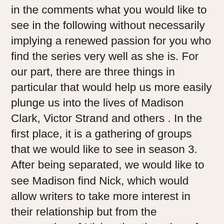in the comments what you would like to see in the following without necessarily implying a renewed passion for you who find the series very well as she is. For our part, there are three things in particular that would help us more easily plunge us into the lives of Madison Clark, Victor Strand and others . In the first place, it is a gathering of groups that we would like to see in season 3. After being separated, we would like to see Madison find Nick, which would allow writers to take more interest in their relationship but from the perspective of Nick rather than that of Madison. The young addict tends to escape his family and we would like to see him be present for those who love him and protect him . Moreover the interactions of the characters have often proved interesting and their group dynamics add rhythm and a human side to the series that is appreciated very much. Second, we look forward to a real “bad” happen in the series and our wish should be fulfilled by Danay Garcia who tease the new antagonist of Season 3 of The Walking Dead Fear . The presence of a